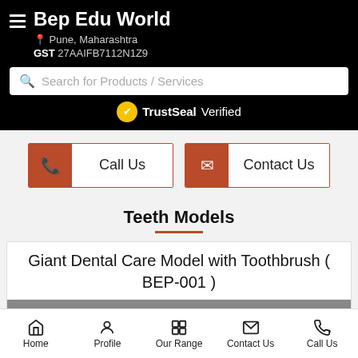Bep Edu World
Pune, Maharashtra
GST 27AAIFB7112N1Z9
Search for Products / Services
TrustSeal Verified
Call Us
Contact Us
Teeth Models
Giant Dental Care Model with Toothbrush ( BEP-001 )
Home  Profile  Our Range  Contact Us  Call Us